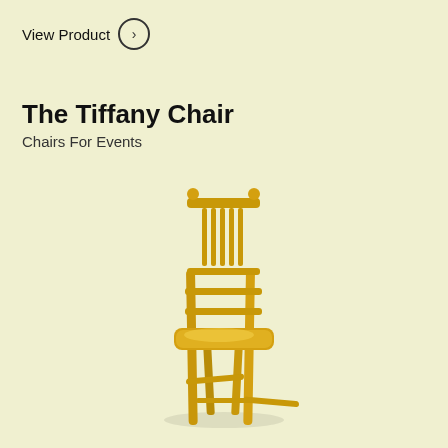View Product →
The Tiffany Chair
Chairs For Events
[Figure (photo): A gold Tiffany/Chiavari chair with vertical spindles in the back and horizontal rungs, shown at a slight angle on a cream/pale yellow background.]